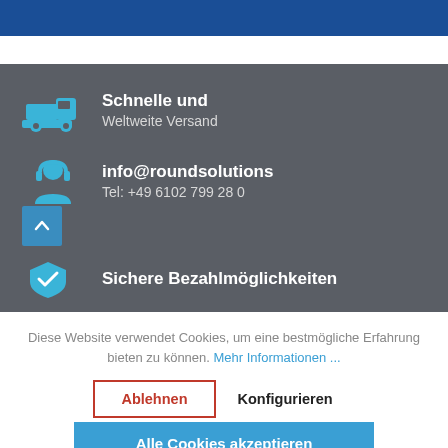[Figure (screenshot): Blue header bar at top of webpage]
[Figure (illustration): Truck icon in light blue on gray background representing fast worldwide shipping]
Schnelle und
Weltweite Versand
[Figure (illustration): Support/person icon in light blue on gray background]
info@roundsolutions
Tel: +49 6102 799 28 0
Sichere Bezahlmöglichkeiten
Diese Website verwendet Cookies, um eine bestmögliche Erfahrung bieten zu können. Mehr Informationen ...
Ablehnen
Konfigurieren
Alle Cookies akzeptieren